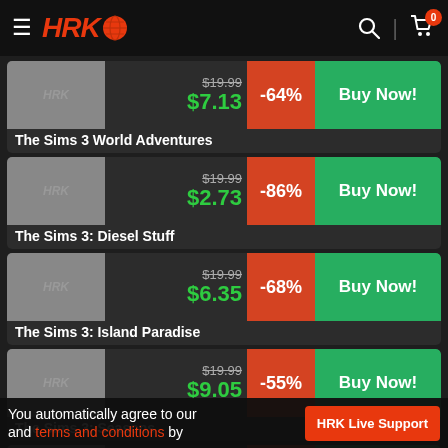HRK Game Store navigation bar
The Sims 3 World Adventures — $19.99 → $7.13 (-64%) — Buy Now!
The Sims 3: Diesel Stuff — $19.99 → $2.73 (-86%) — Buy Now!
The Sims 3: Island Paradise — $19.99 → $6.35 (-68%) — Buy Now!
The Sims 3: Seasons — $19.99 → $9.05 (-55%) — Buy Now!
The Sims 3: Supernatural — $19.99 → $6.96 (-65%) — Buy Now!
You automatically agree to our and terms and conditions by
HRK Live Support